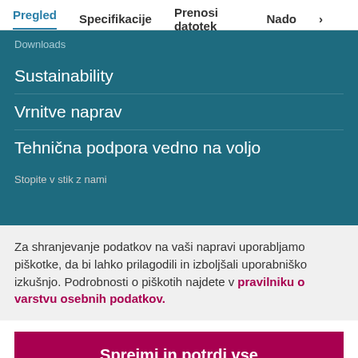Pregled   Specifikacije   Prenosi datotek   Nado >
Downloads
Sustainability
Vrnitve naprav
Tehnična podpora vedno na voljo
Stopite v stik z nami
Za shranjevanje podatkov na vaši napravi uporabljamo piškotke, da bi lahko prilagodili in izboljšali uporabniško izkušnjo. Podrobnosti o piškotih najdete v pravilniku o varstvu osebnih podatkov.
Sprejmi in potrdi vse
Prilagodi nastavitve